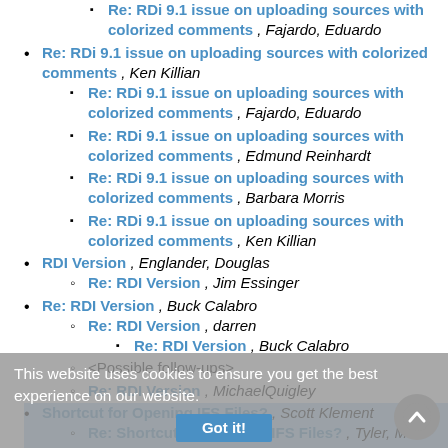Re: RDi 9.1 issue on uploading sources with colorized comments , Fajardo, Eduardo
Re: RDi 9.1 issue on uploading sources with colorized comments , Ken Killian
Re: RDi 9.1 issue on uploading sources with colorized comments , Fajardo, Eduardo
Re: RDi 9.1 issue on uploading sources with colorized comments , Edmund Reinhardt
Re: RDi 9.1 issue on uploading sources with colorized comments , Barbara Morris
Re: RDi 9.1 issue on uploading sources with colorized comments , Ken Killian
RDI Version , Englander, Douglas
Re: RDI Version , Jim Essinger
Re: RDI Version , Buck Calabro
Re: RDI Version , darren
Re: RDI Version , Buck Calabro
<Possible follow-ups>
Re: RDI Version , MichaelQuigley
Shortcut for Opening IFS Files? , Scott Klement
Re: Shortcut for Opening IFS Files? , Tyler, Matt
Re: Shortcut for Opening IFS Files? , Vernon Hamberg
Re: Shortcut for Opening IFS Files? , Scott Klement
This website uses cookies to ensure you get the best experience on our website.
Got it!